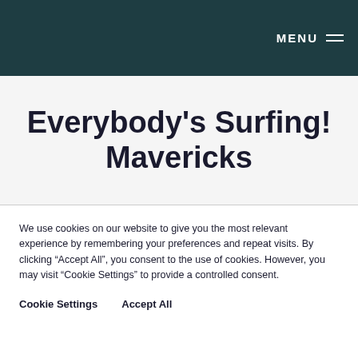MENU
Everybody's Surfing! Mavericks
We use cookies on our website to give you the most relevant experience by remembering your preferences and repeat visits. By clicking “Accept All”, you consent to the use of cookies. However, you may visit "Cookie Settings" to provide a controlled consent.
Cookie Settings
Accept All